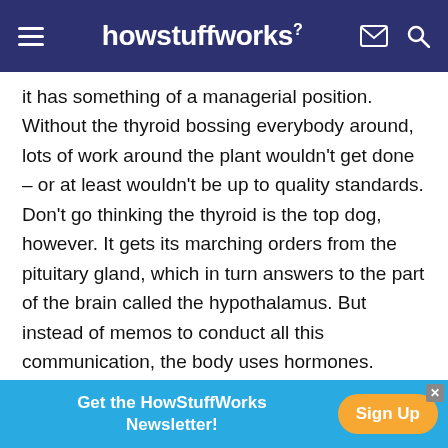howstuffworks
it has something of a managerial position. Without the thyroid bossing everybody around, lots of work around the plant wouldn't get done – or at least wouldn't be up to quality standards. Don't go thinking the thyroid is the top dog, however. It gets its marching orders from the pituitary gland, which in turn answers to the part of the brain called the hypothalamus. But instead of memos to conduct all this communication, the body uses hormones.
If you're a teenager, you probably wish everybody would just shut up about hormones, but they're vital
[Figure (other): Advertisement banner: Get the HowStuffWorks Newsletter! with Sign Up button]